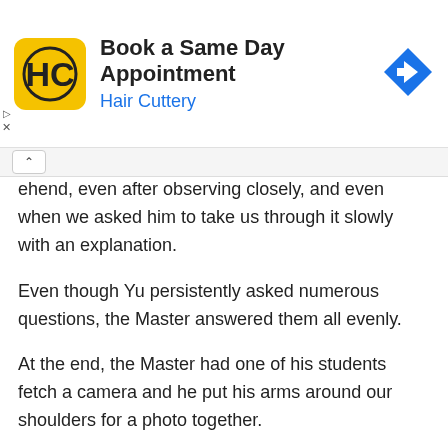[Figure (screenshot): Hair Cuttery advertisement banner with yellow logo, 'Book a Same Day Appointment' heading, 'Hair Cuttery' in blue, and a blue direction arrow icon on the right.]
ehend, even after observing closely, and even when we asked him to take us through it slowly with an explanation.
Even though Yu persistently asked numerous questions, the Master answered them all evenly.
At the end, the Master had one of his students fetch a camera and he put his arms around our shoulders for a photo together.
"If you stay in Dengfeng for two months, I'll teach you the essence of Shaolin Kung Fu".
For a high-level monk who had mastered the essence of Shaolin Kung Fu, he was surprisingly down-to-earth.